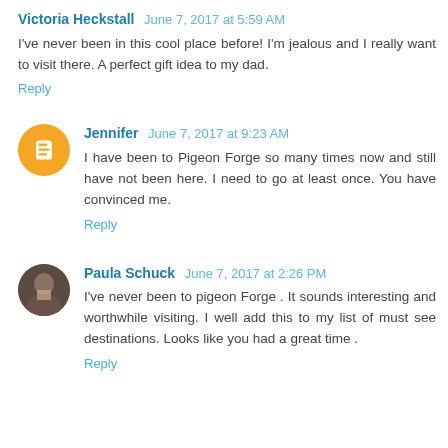Victoria Heckstall June 7, 2017 at 5:59 AM
I've never been in this cool place before! I'm jealous and I really want to visit there. A perfect gift idea to my dad.
Reply
Jennifer June 7, 2017 at 9:23 AM
I have been to Pigeon Forge so many times now and still have not been here. I need to go at least once. You have convinced me.
Reply
Paula Schuck June 7, 2017 at 2:26 PM
I've never been to pigeon Forge . It sounds interesting and worthwhile visiting. I well add this to my list of must see destinations. Looks like you had a great time .
Reply